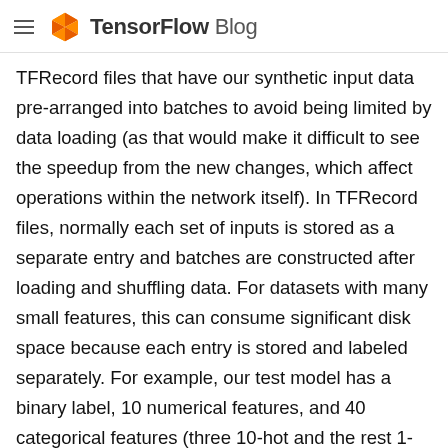TensorFlow Blog
TFRecord files that have our synthetic input data pre-arranged into batches to avoid being limited by data loading (as that would make it difficult to see the speedup from the new changes, which affect operations within the network itself). In TFRecord files, normally each set of inputs is stored as a separate entry and batches are constructed after loading and shuffling data. For datasets with many small features, this can consume significant disk space because each entry is stored and labeled separately. For example, our test model has a binary label, 10 numerical features, and 40 categorical features (three 10-hot and the rest 1-hot). Each entry in a TFRecord of this model's data contains a single floating-point value for each numerical feature and the appropriate number of integers for each categorical feature data of